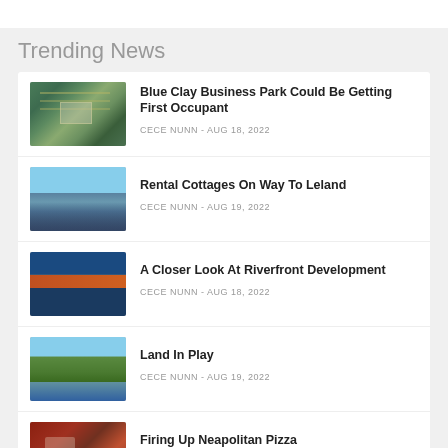Trending News
Blue Clay Business Park Could Be Getting First Occupant | CECE NUNN - AUG 18, 2022
Rental Cottages On Way To Leland | CECE NUNN - AUG 19, 2022
A Closer Look At Riverfront Development | CECE NUNN - AUG 18, 2022
Land In Play | CECE NUNN - AUG 19, 2022
Firing Up Neapolitan Pizza | JENNY CALLISON - AUG 19, 2022